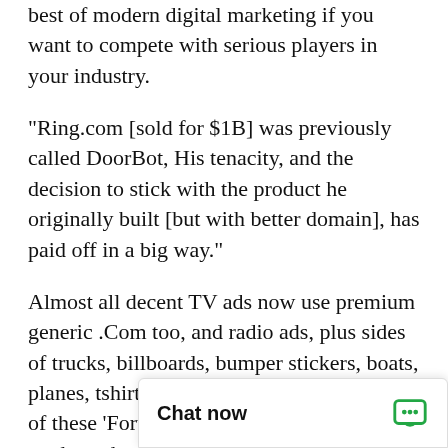best of modern digital marketing if you want to compete with serious players in your industry.
"Ring.com [sold for $1B] was previously called DoorBot, His tenacity, and the decision to stick with the product he originally built [but with better domain], has paid off in a big way."
Almost all decent TV ads now use premium generic .Com too, and radio ads, plus sides of trucks, billboards, bumper stickers, boats, planes, tshirts, blogs, etc. You may be one of these 'Fortune 500' mega corporations ready to dominate the world, or just a regular granny in your underwear, but either way you can look the same with MostWantedDjs.com.
DomainMarket.com is the only authorized pricing agent for this domain. party seller. Every dor